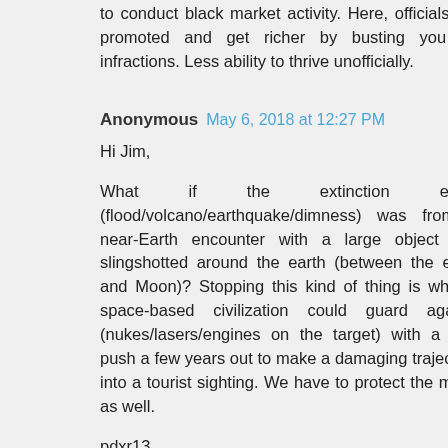to conduct black market activity. Here, officials are promoted and get richer by busting you for infractions. Less ability to thrive unofficially.
Anonymous May 6, 2018 at 12:27 PM
Hi Jim,
What if the extinction event (flood/volcano/earthquake/dimness) was from a near-Earth encounter with a large object that slingshotted around the earth (between the earth and Moon)? Stopping this kind of thing is what a space-based civilization could guard against (nukes/lasers/engines on the target) with a little push a few years out to make a damaging trajectory into a tourist sighting. We have to protect the moon as well.
pdxr13